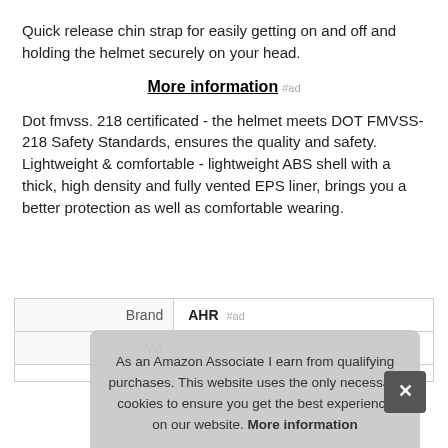Quick release chin strap for easily getting on and off and holding the helmet securely on your head.
More information #ad
Dot fmvss. 218 certificated - the helmet meets DOT FMVSS-218 Safety Standards, ensures the quality and safety. Lightweight & comfortable - lightweight ABS shell with a thick, high density and fully vented EPS liner, brings you a better protection as well as comfortable wearing.
| Brand | AHR #ad |
| --- | --- |
| Ma… |  |
As an Amazon Associate I earn from qualifying purchases. This website uses the only necessary cookies to ensure you get the best experience on our website. More information